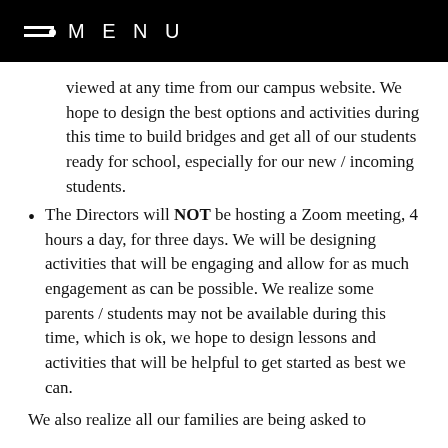MENU
viewed at any time from our campus website. We hope to design the best options and activities during this time to build bridges and get all of our students ready for school, especially for our new / incoming students.
The Directors will NOT be hosting a Zoom meeting, 4 hours a day, for three days. We will be designing activities that will be engaging and allow for as much engagement as can be possible. We realize some parents / students may not be available during this time, which is ok, we hope to design lessons and activities that will be helpful to get started as best we can.
We also realize all our families are being asked to